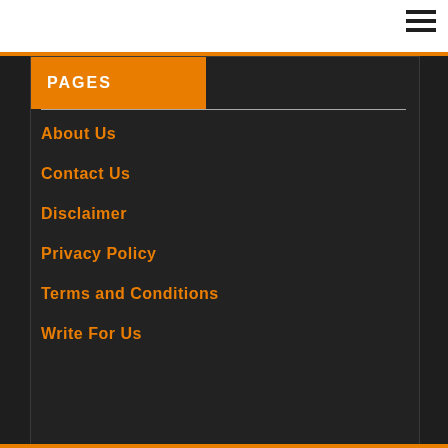[Figure (other): Hamburger menu icon with three horizontal lines in top-right corner]
PAGES
About Us
Contact Us
Disclaimer
Privacy Policy
Terms and Conditions
Write For Us